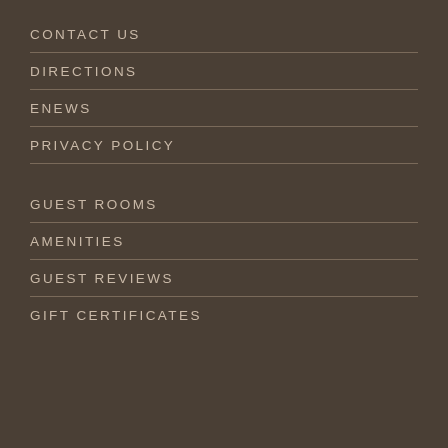CONTACT US
DIRECTIONS
ENEWS
PRIVACY POLICY
GUEST ROOMS
AMENITIES
GUEST REVIEWS
GIFT CERTIFICATES